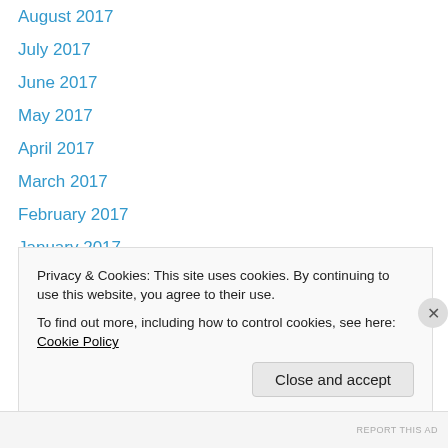August 2017
July 2017
June 2017
May 2017
April 2017
March 2017
February 2017
January 2017
December 2016
November 2016
October 2016
September 2016
August 2016
July 2016
Privacy & Cookies: This site uses cookies. By continuing to use this website, you agree to their use.
To find out more, including how to control cookies, see here: Cookie Policy
Close and accept
REPORT THIS AD